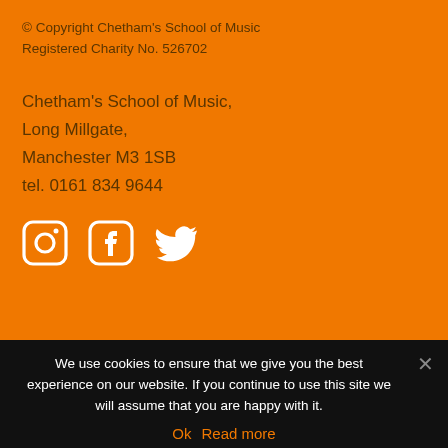© Copyright Chetham's School of Music
Registered Charity No. 526702
Chetham's School of Music,
Long Millgate,
Manchester M3 1SB
tel. 0161 834 9644
[Figure (illustration): Social media icons: Instagram, Facebook, Twitter in white on orange background]
We use cookies to ensure that we give you the best experience on our website. If you continue to use this site we will assume that you are happy with it.
Ok   Read more